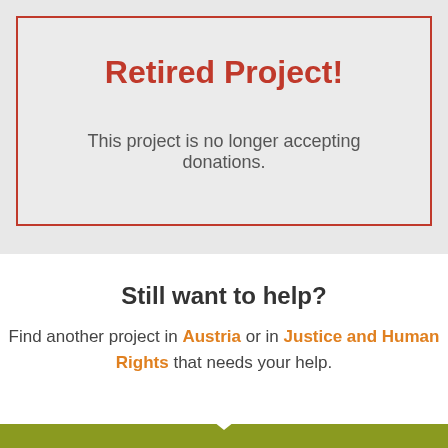Retired Project!
This project is no longer accepting donations.
Still want to help?
Find another project in Austria or in Justice and Human Rights that needs your help.